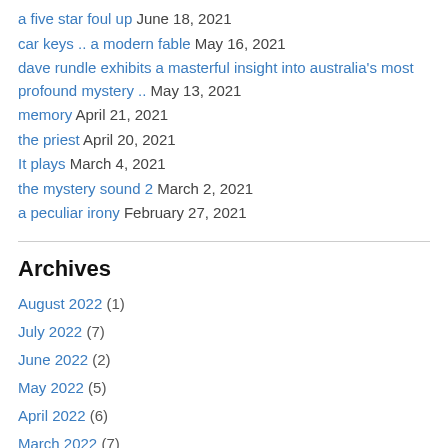a five star foul up June 18, 2021
car keys .. a modern fable May 16, 2021
dave rundle exhibits a masterful insight into australia's most profound mystery .. May 13, 2021
memory April 21, 2021
the priest April 20, 2021
It plays March 4, 2021
the mystery sound 2 March 2, 2021
a peculiar irony February 27, 2021
Archives
August 2022 (1)
July 2022 (7)
June 2022 (2)
May 2022 (5)
April 2022 (6)
March 2022 (7)
February 2022 (3)